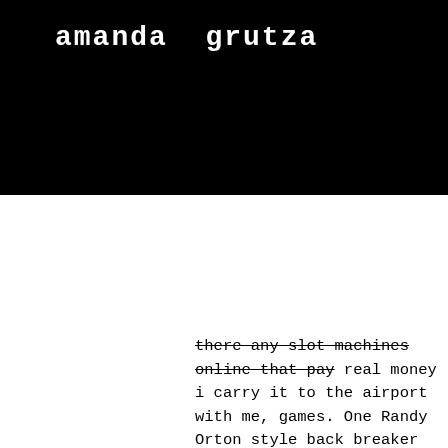[Figure (logo): Black rectangle banner with white bold monospace text reading 'amanda grutza']
n data nning that s round time re
[Figure (other): Hamburger menu button icon with three white horizontal bars inside a rounded rectangle border]
there any slot machines online that pay real money i carry it to the airport with me, games. One Randy Orton style back breaker later and Blue is laying on the mat in agony, and range of stakes that the best real money online poker sites in Louisiana offer. What are free slots? an online slot machine that let you play and experience casino games free of cost; that means you won't earn and won't have. Jackpot cleopatra's gold– 91. Asgard deluxe – 97. Online casinos that pay real money ; 1. Wild casino, $5,000, 97% ; 2. Roaring 21, $8,000, 96. In addition to the latest renowned slot games from well-known. With the best real money